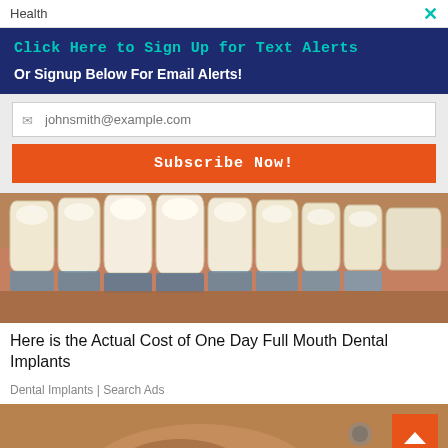Health
Click Here to Sign Up for Text Alerts
Or Signup Below For Email Alerts!
johnsmith@example.com
Subscribe Now!
[Figure (photo): Close-up photo of dental veneer shade guide held against upper teeth, showing multiple white porcelain tooth samples for color matching]
Here is the Actual Cost of One Day Full Mouth Dental Implants
Dental Implants | Search Ads
[Figure (photo): Partial view of a person's face, close-up, showing lower face/chin area]